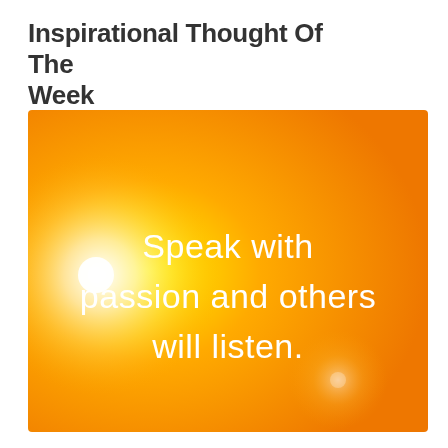Inspirational Thought Of The Week
[Figure (illustration): Orange gradient background with yellow glow and sun flare on the left side, containing white text: 'Speak with passion and others will listen.']